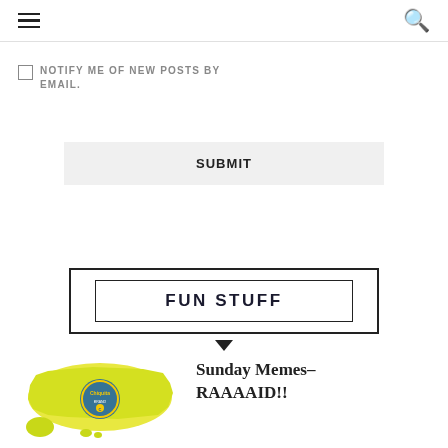☰  🔍
NOTIFY ME OF NEW POSTS BY EMAIL.
SUBMIT
FUN STUFF
[Figure (illustration): Yellow silhouette map of the United States with a round Chiquita-style logo/stamp in the center]
Sunday Memes–RAAAAID!!